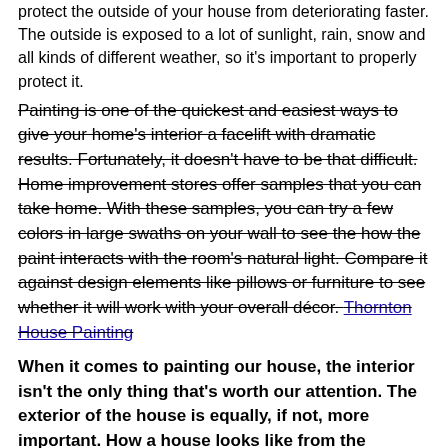protect the outside of your house from deteriorating faster. The outside is exposed to a lot of sunlight, rain, snow and all kinds of different weather, so it's important to properly protect it.
Painting is one of the quickest and easiest ways to give your home's interior a facelift with dramatic results. Fortunately, it doesn't have to be that difficult. Home improvement stores offer samples that you can take home. With these samples, you can try a few colors in large swaths on your wall to see the how the paint interacts with the room's natural light. Compare it against design elements like pillows or furniture to see whether it will work with your overall décor. Thornton House Painting
When it comes to painting our house, the interior isn't the only thing that's worth our attention. The exterior of the house is equally, if not, more important. How a house looks like from the outside speaks volumes. A good paint job makes your house look nice and fresh and has people wondering how good it must look on the inside if the exterior is that good looking. Thornton House Painters
House Painting Thornton Sitemap Contact us at webmaster@homeclearance.us | Sitemap txt | Sitemap